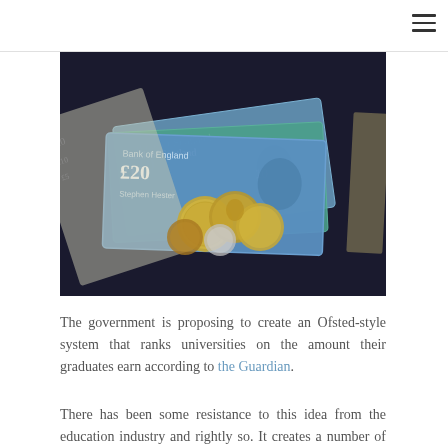[Figure (photo): British pound notes (£20, £10, £5) and coins spread on a dark surface]
The government is proposing to create an Ofsted-style system that ranks universities on the amount their graduates earn according to the Guardian.
There has been some resistance to this idea from the education industry and rightly so. It creates a number of problems that could